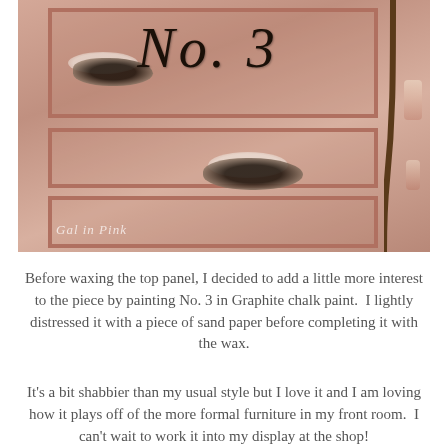[Figure (photo): A pink distressed wooden door or cabinet painted with 'No. 3' in decorative Graphite chalk paint script on the top panel, showing worn and distressed patches exposing darker and lighter paint beneath, with a curved metal rod/handle visible on the right side. Watermark text 'Gal in Pink' visible in lower left.]
Before waxing the top panel, I decided to add a little more interest to the piece by painting No. 3 in Graphite chalk paint.  I lightly distressed it with a piece of sand paper before completing it with the wax.
It's a bit shabbier than my usual style but I love it and I am loving how it plays off of the more formal furniture in my front room.  I can't wait to work it into my display at the shop!